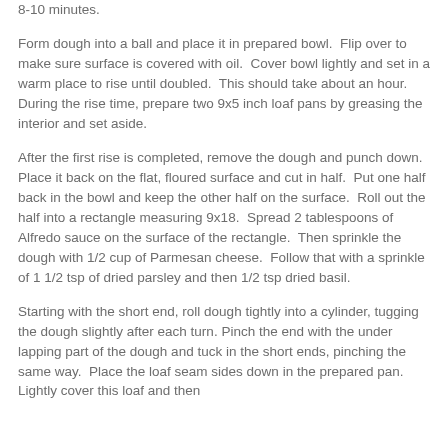8-10 minutes.
Form dough into a ball and place it in prepared bowl.  Flip over to make sure surface is covered with oil.  Cover bowl lightly and set in a warm place to rise until doubled.  This should take about an hour.  During the rise time, prepare two 9x5 inch loaf pans by greasing the interior and set aside.
After the first rise is completed, remove the dough and punch down.  Place it back on the flat, floured surface and cut in half.  Put one half back in the bowl and keep the other half on the surface.  Roll out the half into a rectangle measuring 9x18.  Spread 2 tablespoons of Alfredo sauce on the surface of the rectangle.  Then sprinkle the dough with 1/2 cup of Parmesan cheese.  Follow that with a sprinkle of 1 1/2 tsp of dried parsley and then 1/2 tsp dried basil.
Starting with the short end, roll dough tightly into a cylinder, tugging the dough slightly after each turn. Pinch the end with the under lapping part of the dough and tuck in the short ends, pinching the same way.  Place the loaf seam sides down in the prepared pan.  Lightly cover this loaf and then